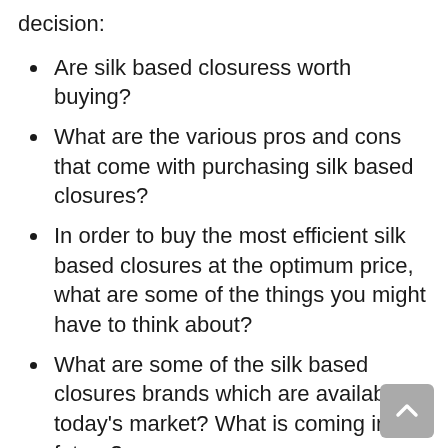decision:
Are silk based closuress worth buying?
What are the various pros and cons that come with purchasing silk based closures?
In order to buy the most efficient silk based closures at the optimum price, what are some of the things you might have to think about?
What are some of the silk based closures brands which are available in today's market? What is coming in the future?
Is enough information on what you want accessible?